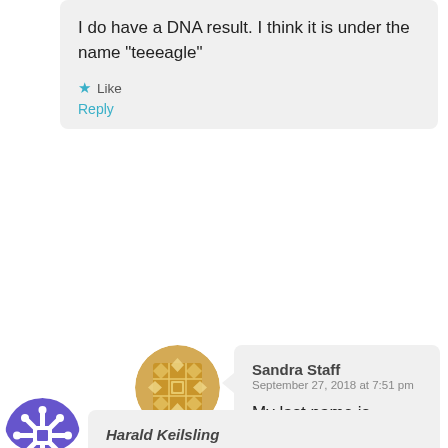I do have a DNA result. I think it is under the name "teeeagle"
Like
Reply
[Figure (illustration): Gold decorative circular avatar icon with geometric pattern]
Sandra Staff
September 27, 2018 at 7:51 pm
My last name is Perthel. Please search it in ancestry under surname.
Like
[Figure (illustration): Purple/blue snowflake-style circular avatar icon]
Harold Keilsling